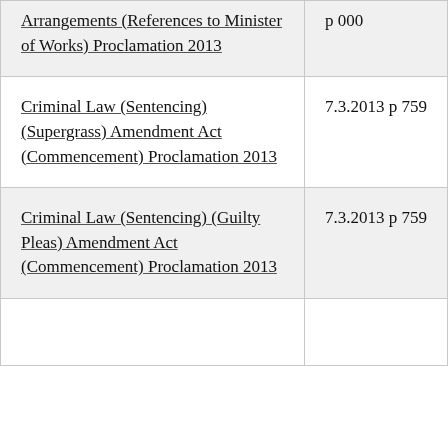| Arrangements (References to Minister of Works) Proclamation 2013 | p 000 |
| Criminal Law (Sentencing) (Supergrass) Amendment Act (Commencement) Proclamation 2013 | 7.3.2013 p 759 |
| Criminal Law (Sentencing) (Guilty Pleas) Amendment Act (Commencement) Proclamation 2013 | 7.3.2013 p 759 |
|  |  |